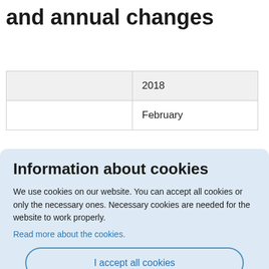and annual changes
|  | 2018 |
| --- | --- |
|  | February |
Information about cookies
We use cookies on our website. You can accept all cookies or only the necessary ones. Necessary cookies are needed for the website to work properly.
Read more about the cookies.
I accept all cookies
I only accept necessary cookies